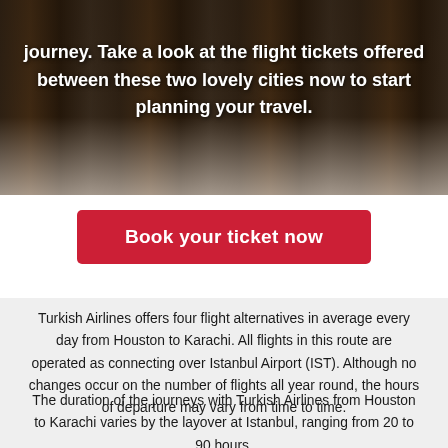journey. Take a look at the flight tickets offered between these two lovely cities now to start planning your travel.
Book your ticket now
Turkish Airlines offers four flight alternatives in average every day from Houston to Karachi. All flights in this route are operated as connecting over Istanbul Airport (IST). Although no changes occur on the number of flights all year round, the hours of departure may vary from time to time.
The duration of the journeys with Turkish Airlines from Houston to Karachi varies by the layover at Istanbul, ranging from 20 to 90 hours.